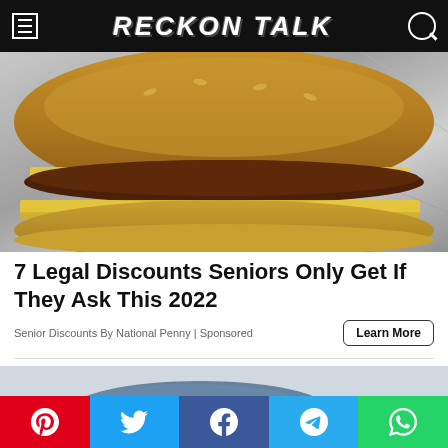RECKON TALK
[Figure (photo): Close-up photo of a double cheeseburger with melted yellow cheese on a sesame bun, wrapped in foil]
7 Legal Discounts Seniors Only Get If They Ask This 2022
Senior Discounts By National Penny | Sponsored
Learn More
[Figure (photo): Partial view of a blue/grey loafer shoe]
Social share bar: Pinterest, Twitter, Facebook, Telegram, WhatsApp